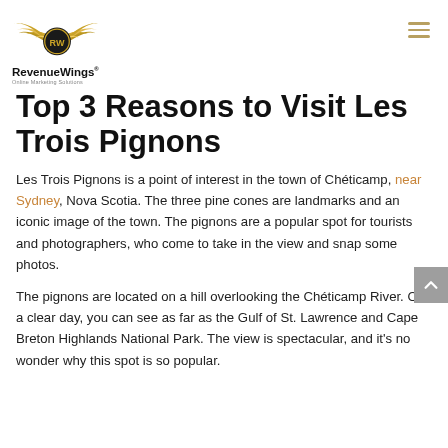[Figure (logo): RevenueWings logo with golden wings and RW emblem, with text 'RevenueWings' and 'Online Marketing Solutions']
Top 3 Reasons to Visit Les Trois Pignons
Les Trois Pignons is a point of interest in the town of Chéticamp, near Sydney, Nova Scotia. The three pine cones are landmarks and an iconic image of the town. The pignons are a popular spot for tourists and photographers, who come to take in the view and snap some photos.
The pignons are located on a hill overlooking the Chéticamp River. On a clear day, you can see as far as the Gulf of St. Lawrence and Cape Breton Highlands National Park. The view is spectacular, and it's no wonder why this spot is so popular.